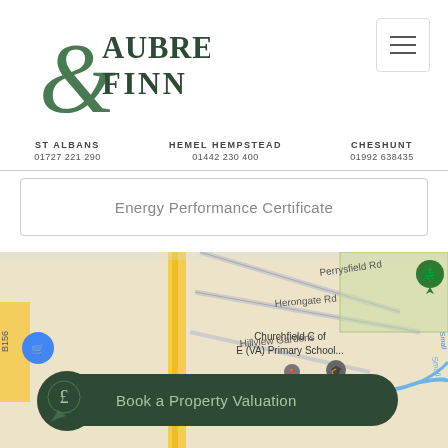[Figure (logo): Aubrey & Finn estate agent logo in dark green]
ST ALBANS
01727 221 290
HEMEL HEMPSTEAD
01442 230 400
CHESHUNT
01992 638435
Energy Performance Certificate
[Figure (map): Google Maps screenshot showing Churchfield C of E (VA) Primary School area, Manhattan Nails, Perrysfield Rd, Herongate Rd, Hillview Gardens, Turnford Brook, B156 road]
Book a Property Valuation